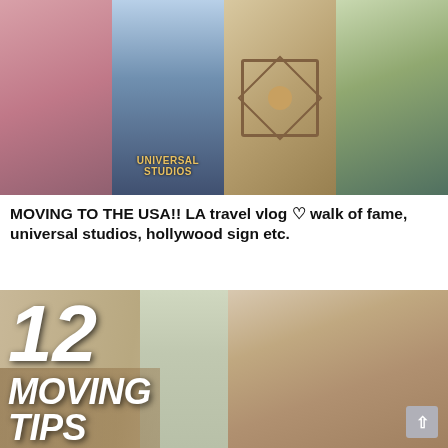[Figure (photo): Collage of 4 photos: person sitting (pink/peach tones), Universal Studios Hollywood sign, Walk of Fame star, highway/road scene]
MOVING TO THE USA!! LA travel vlog ♡ walk of fame, universal studios, hollywood sign etc.
[Figure (photo): YouTube thumbnail showing '12 MOVING TIPS' in large bold white italic text overlaid on photo of woman smiling with moving boxes in a furnished room]